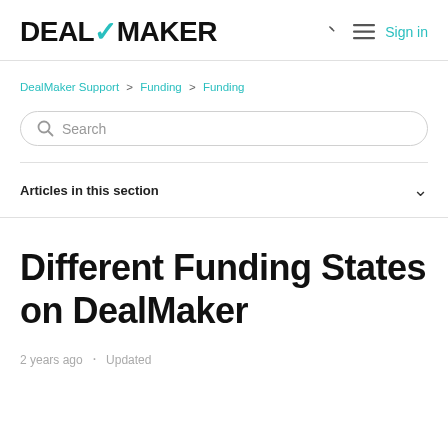DEALMAKER  Sign in
DealMaker Support > Funding > Funding
Search
Articles in this section
Different Funding States on DealMaker
2 years ago · Updated